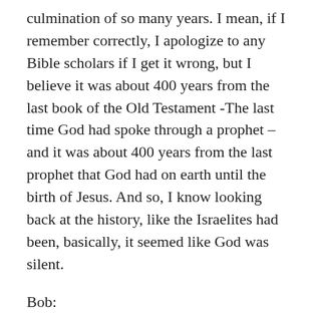culmination of so many years. I mean, if I remember correctly, I apologize to any Bible scholars if I get it wrong, but I believe it was about 400 years from the last book of the Old Testament -The last time God had spoke through a prophet – and it was about 400 years from the last prophet that God had on earth until the birth of Jesus. And so, I know looking back at the history, like the Israelites had been, basically, it seemed like God was silent.
Bob:
400 years is a long time.
Shawn:
A long time. It's a long time. Yeah. I mean, our country is not very old, like maybe for other countries that 400 years isn't that long when